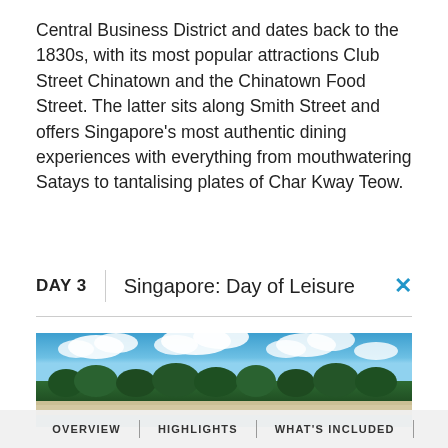Central Business District and dates back to the 1830s, with its most popular attractions Club Street Chinatown and the Chinatown Food Street. The latter sits along Smith Street and offers Singapore's most authentic dining experiences with everything from mouthwatering Satays to tantalising plates of Char Kway Teow.
DAY 3   Singapore: Day of Leisure
[Figure (photo): Panoramic photo of a tropical beach destination with blue sky, white clouds, lush green trees, white sandy beach and calm blue water]
OVERVIEW | HIGHLIGHTS | WHAT'S INCLUDED |